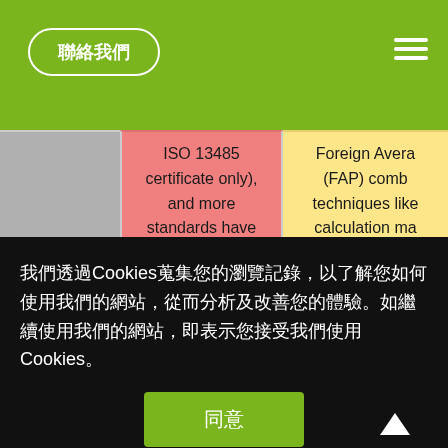聯絡我們
| Regulatory Barriers |  |  |
| --- | --- | --- |
| Regulatory Barriers | ISO 13485 certificate only), and more standards have been implemented.

Local testing, a critical phase in the registration process, now takes around 6 months, when it used to | Foreign Avera (FAP) comb techniques like calculation ma these pressure medical device hospita |
我們透過Cookies蒐集您的瀏覽記錄，以了解您如何使用我們的網站，從而分析及改善您的體驗。如繼續使用我們的網站，即表示您接受我們使用 Cookies。
同意